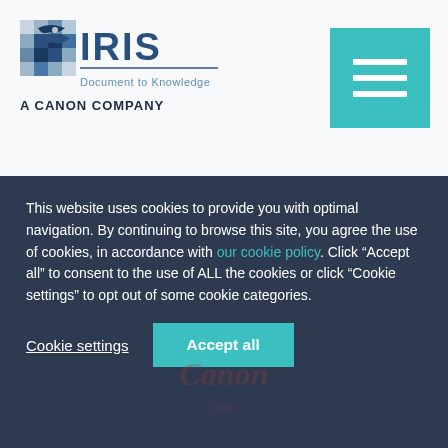[Figure (logo): IRIS Document to Knowledge - A Canon Company logo with bird graphic in blue/grey]
[Figure (other): Teal/turquoise hamburger menu button with three white horizontal lines]
IRIS-Professionelle Dienstleistungen
SOHO-Support
This website uses cookies to provide you with optimal navigation. By continuing to browse this site, you agree the use of cookies, in accordance with our cookie policy. Click “Accept all” to consent to the use of ALL the cookies or click “Cookie settings” to opt out of some cookie categories.
Cookie settings
Accept all